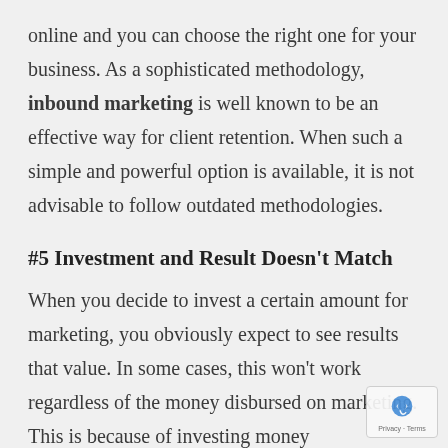online and you can choose the right one for your business. As a sophisticated methodology, inbound marketing is well known to be an effective way for client retention. When such a simple and powerful option is available, it is not advisable to follow outdated methodologies.
#5 Investment and Result Doesn't Match
When you decide to invest a certain amount for marketing, you obviously expect to see results that value. In some cases, this won't work regardless of the money disbursed on marketing. This is because of investing money